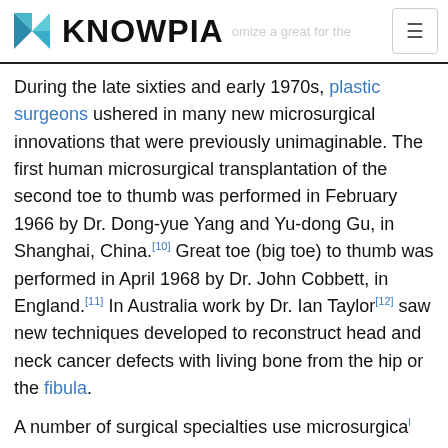KNOWPIA
During the late sixties and early 1970s, plastic surgeons ushered in many new microsurgical innovations that were previously unimaginable. The first human microsurgical transplantation of the second toe to thumb was performed in February 1966 by Dr. Dong-yue Yang and Yu-dong Gu, in Shanghai, China.[10] Great toe (big toe) to thumb was performed in April 1968 by Dr. John Cobbett, in England.[11] In Australia work by Dr. Ian Taylor[12] saw new techniques developed to reconstruct head and neck cancer defects with living bone from the hip or the fibula.
A number of surgical specialties use microsurgical techniques. Otolaryngologists (ear, nose, throat and head and neck surgeons) perform microsurgery on